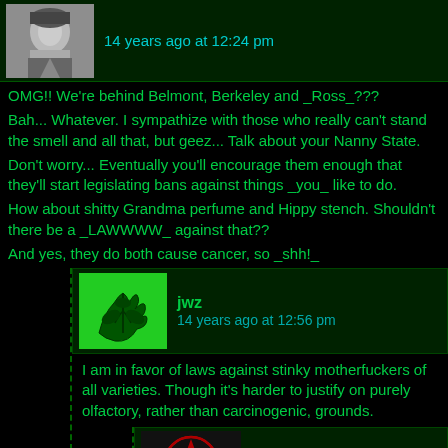[Figure (screenshot): Top comment block with user avatar (black and white photo of person) and timestamp '14 years ago at 12:24 pm' on dark green background]
OMG!! We're behind Belmont, Berkeley and _Ross_???
Bah... Whatever. I sympathize with those who really can't stand the smell and all that, but geez... Talk about your Nanny State.
Don't worry... Eventually you'll encourage them enough that they'll start legislating bans against things _you_ like to do.
How about shitty Grandma perfume and Hippy stench. Shouldn't there be a _LAWWWW_ against that??
And yes, they do both cause cancer, so _shh!_
[Figure (screenshot): Nested comment header with green avatar showing a hand/leaf graphic, username 'jwz', timestamp '14 years ago at 12:56 pm']
I am in favor of laws against stinky motherfuckers of all varieties. Though it's harder to justify on purely olfactory, rather than carcinogenic, grounds.
[Figure (screenshot): Nested comment header with dark avatar showing red pentagram symbol, username 'bifrosty2k', timestamp '14 years ago at 1:21 pm']